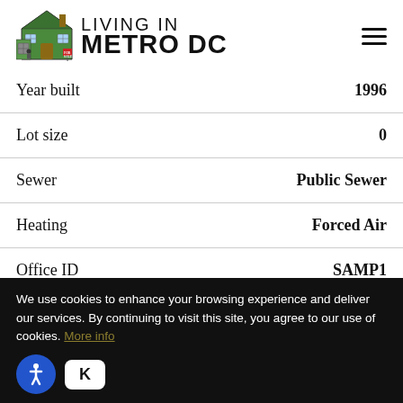Living In Metro DC
| Property | Value |
| --- | --- |
| Year built | 1996 |
| Lot size | 0 |
| Sewer | Public Sewer |
| Heating | Forced Air |
| Office ID | SAMP1 |
We use cookies to enhance your browsing experience and deliver our services. By continuing to visit this site, you agree to our use of cookies. More info
OK